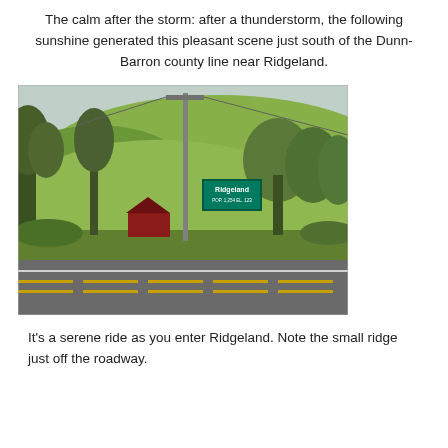The calm after the storm: after a thunderstorm, the following sunshine generated this pleasant scene just south of the Dunn-Barron county line near Ridgeland.
[Figure (photo): A photograph taken from a roadway looking toward a green rolling hill with trees. A utility pole stands in the center, and a green Ridgeland city limit sign is visible. A red barn sits in the background. The scene is bathed in warm post-storm sunshine.]
It's a serene ride as you enter Ridgeland. Note the small ridge just off the roadway.